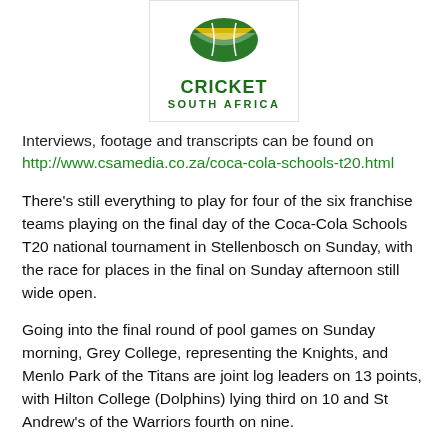[Figure (logo): Cricket South Africa logo with green and gold cricket ball graphic above bold green text reading CRICKET SOUTH AFRICA]
Interviews, footage and transcripts can be found on http://www.csamedia.co.za/coca-cola-schools-t20.html
There’s still everything to play for four of the six franchise teams playing on the final day of the Coca-Cola Schools T20 national tournament in Stellenbosch on Sunday, with the race for places in the final on Sunday afternoon still wide open.
Going into the final round of pool games on Sunday morning, Grey College, representing the Knights, and Menlo Park of the Titans are joint log leaders on 13 points, with Hilton College (Dolphins) lying third on 10 and St Andrew's of the Warriors fourth on nine.
Grey and Menlo Park meet in their final league game on